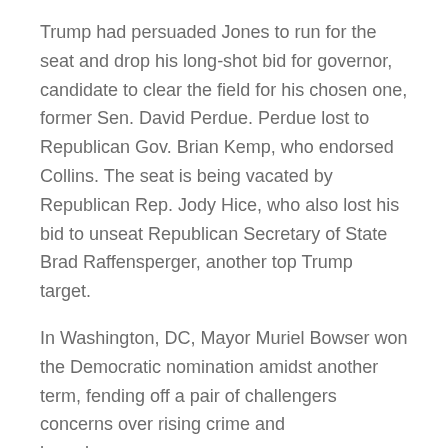Trump had persuaded Jones to run for the seat and drop his long-shot bid for governor, candidate to clear the field for his chosen one, former Sen. David Perdue. Perdue lost to Republican Gov. Brian Kemp, who endorsed Collins. The seat is being vacated by Republican Rep. Jody Hice, who also lost his bid to unseat Republican Secretary of State Brad Raffensperger, another top Trump target.
In Washington, DC, Mayor Muriel Bowser won the Democratic nomination amidst another term, fending off a pair of challengers concerns over rising crime and homelessness.
But the Alabama Senate runoff has drawn particular attention both because of the drama surrounding Trump's endorsement and the fact that the winner will likely prevail in November in a state Trump won twice by more than 25 percentage points.
Trump initially endorsed Brooks in the spring of 2021, rewarding an